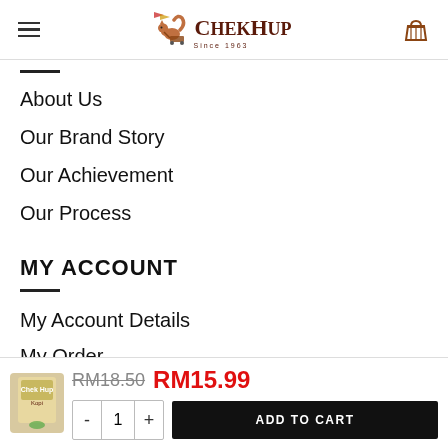Chek Hup — navigation header with hamburger menu and basket icon
About Us
Our Brand Story
Our Achievement
Our Process
MY ACCOUNT
My Account Details
My Order
Product: RM18.50 RM15.99 — Quantity selector — ADD TO CART button